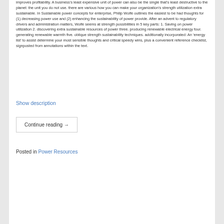improves profitability. A business's least expensive unit of power can also be the single that's least destructive to the planet: the unit you do not use. there are various how you can make your organization's strength utilization extra sustainable. In Sustainable power concepts for enterprise, Philip Wolfe outlines the easiest to be had thoughts for (1) decreasing power use and (2) enhancing the sustainability of power provide. After an advent to regulatory drivers and administration matters, Wolfe seems at strength possibilities in 5 key parts: 1. Saving on power utilization 2. discovering extra sustainable resources of power three. producing renewable electrical energy four. generating renewable warmth five. oblique strength sustainability techniques. additionally incorporated: An 'energy list' to assist determine your most sensible thoughts and critical speedy wins, plus a convenient reference checklist, signposted from annotations within the text.
Show description
Continue reading →
Posted in Power Resources